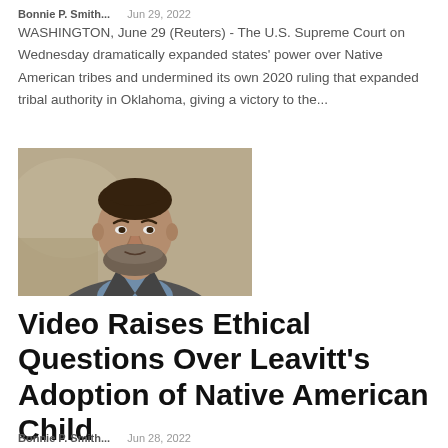Bonnie P. Smith...   Jun 29, 2022
WASHINGTON, June 29 (Reuters) - The U.S. Supreme Court on Wednesday dramatically expanded states' power over Native American tribes and undermined its own 2020 ruling that expanded tribal authority in Oklahoma, giving a victory to the...
[Figure (photo): A man with a brown beard wearing a gray suit jacket and blue shirt, photographed indoors.]
Video Raises Ethical Questions Over Leavitt’s Adoption of Native American Child
Bonnie P. Smith...   Jun 28, 2022